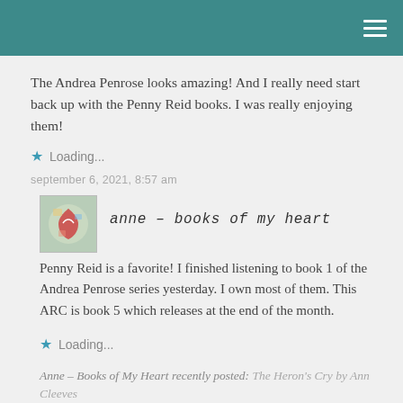The Andrea Penrose looks amazing! And I really need start back up with the Penny Reid books. I was really enjoying them!
★ Loading...
september 6, 2021, 8:57 am
anne – books of my heart
Penny Reid is a favorite! I finished listening to book 1 of the Andrea Penrose series yesterday. I own most of them. This ARC is book 5 which releases at the end of the month.
★ Loading...
Anne – Books of My Heart recently posted: The Heron's Cry by Ann Cleeves